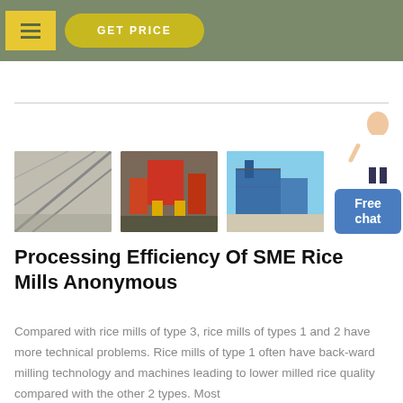GET PRICE
[Figure (photo): Three photos of rice mill industrial equipment and facilities side by side]
Processing Efficiency Of SME Rice Mills Anonymous
Compared with rice mills of type 3, rice mills of types 1 and 2 have more technical problems. Rice mills of type 1 often have back-ward milling technology and machines leading to lower milled rice quality compared with the other 2 types. Most